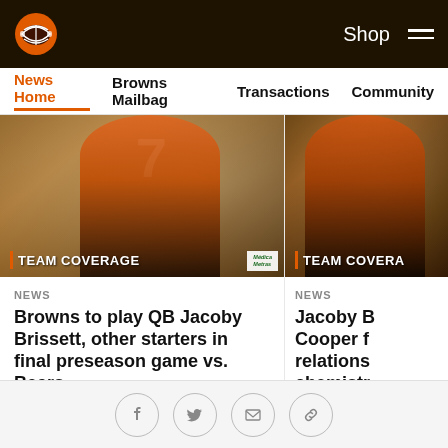Cleveland Browns – Shop
News Home | Browns Mailbag | Transactions | Community
[Figure (photo): Football player wearing orange jersey number 7, TEAM COVERAGE label overlay with Médica Metras sponsor]
NEWS
Browns to play QB Jacoby Brissett, other starters in final preseason game vs. Bears
Brissett will take his first snaps of the preseason as the offense prepares for him to be under center in Week 1
[Figure (photo): Football player in orange uniform, TEAM COVERAGE label overlay, partially cropped]
NEWS
Jacoby B Cooper f relations chemistr
Brissett and C on-field conn Brissett has w
Social share icons: Facebook, Twitter, Email, Link